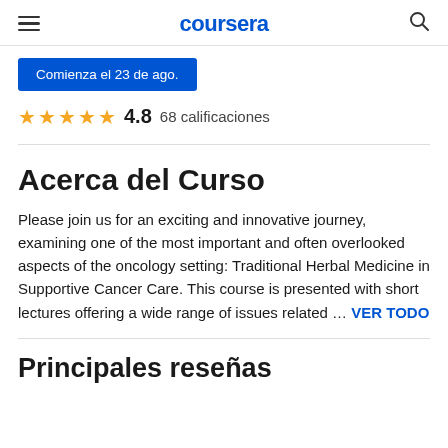coursera
Comienza el 23 de ago.
4.8  68 calificaciones
Acerca del Curso
Please join us for an exciting and innovative journey, examining one of the most important and often overlooked aspects of the oncology setting: Traditional Herbal Medicine in Supportive Cancer Care. This course is presented with short lectures offering a wide range of issues related … VER TODO
Principales reseñas